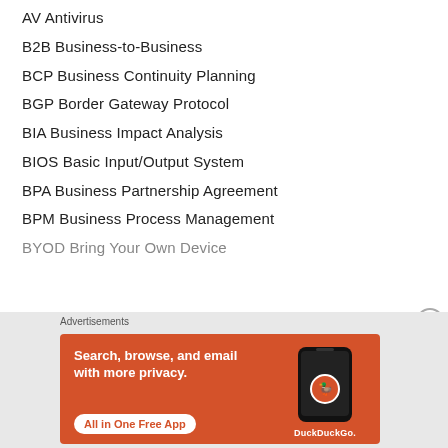AV Antivirus
B2B Business-to-Business
BCP Business Continuity Planning
BGP Border Gateway Protocol
BIA Business Impact Analysis
BIOS Basic Input/Output System
BPA Business Partnership Agreement
BPM Business Process Management
BYOD Bring Your Own Device (partial, cut off)
[Figure (infographic): DuckDuckGo advertisement banner: orange background with text 'Search, browse, and email with more privacy. All in One Free App' and a DuckDuckGo logo with phone image.]